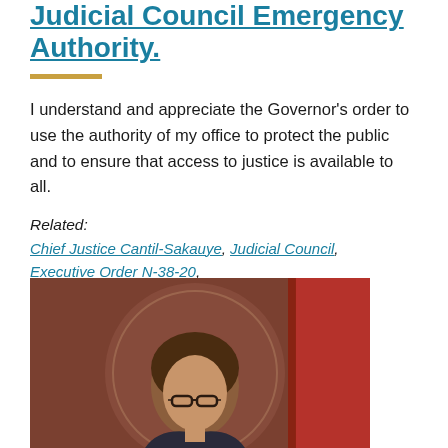Judicial Council Emergency Authority.
I understand and appreciate the Governor's order to use the authority of my office to protect the public and to ensure that access to justice is available to all.
Related:
Chief Justice Cantil-Sakauye, Judicial Council, Executive Order N-38-20, Office of the Governor News Release
CHIEF JUSTICE
[Figure (photo): Photo of Chief Justice Cantil-Sakauye at a podium, with a seal reading 1926 in the background and a red flag visible on the right.]